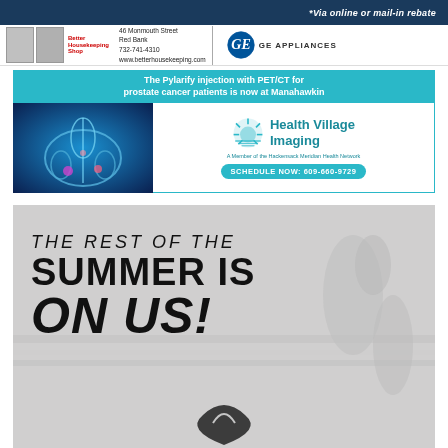[Figure (illustration): Better Housekeeping Shop advertisement with top dark navy bar reading '*Via online or mail-in rebate', appliance images (refrigerator, oven), Better Housekeeping Shop logo in red text, contact info '46 Monmouth Street, Red Bank, 732-741-4310, www.betterhousekeeping.com', and GE Appliances logo]
[Figure (illustration): Health Village Imaging advertisement. Teal header: 'The Pylarify injection with PET/CT for prostate cancer patients is now at Manahawkin'. Left side shows blue X-ray medical image of pelvis. Right side: Health Village Imaging logo with sun icon, 'A Member of the Hackensack Meridian Health Network', teal button 'SCHEDULE NOW: 609-660-9729']
[Figure (illustration): Gray-toned advertisement with person running (soccer/sports), large bold text reading 'THE REST OF THE SUMMER IS ON US!' with a brand logo partially visible at bottom]